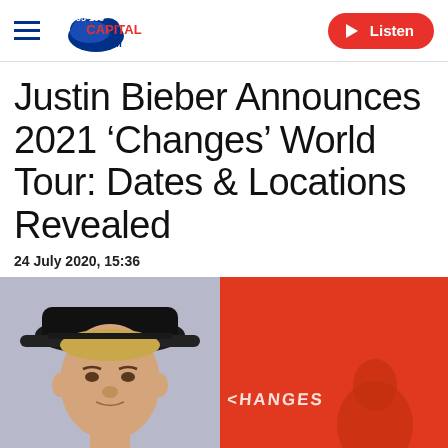Capital FM 95-106 | Listen
Justin Bieber Announces 2021 ‘Changes’ World Tour: Dates & Locations Revealed
24 July 2020, 15:36
[Figure (photo): Left panel: Justin Bieber wearing a black backwards cap against a light purple/grey background. Right panel: Red background showing the 'Changes' album cover with text 'CHANGES' and a silhouette of a person.]